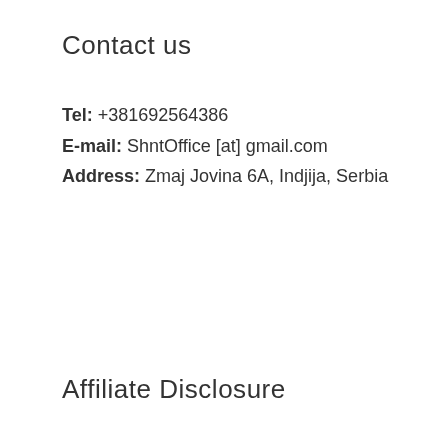Contact us
Tel: +381692564386
E-mail: ShntOffice [at] gmail.com
Address: Zmaj Jovina 6A, Indjija, Serbia
Affiliate Disclosure